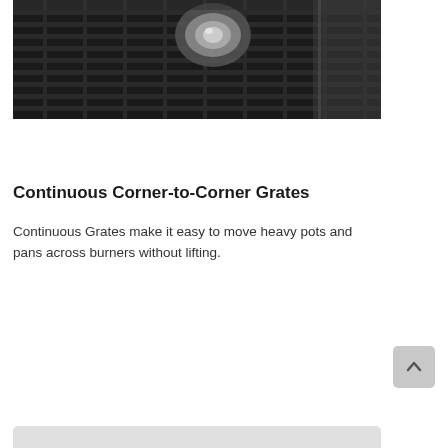[Figure (photo): Close-up overhead photo of a gas stove cooktop showing black cast iron continuous grates over burners, with stainless steel knob visible]
Continuous Corner-to-Corner Grates
Continuous Grates make it easy to move heavy pots and pans across burners without lifting.